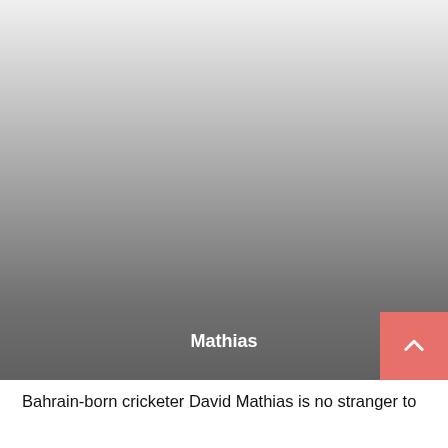[Figure (photo): A grayscale gradient image (light gray at top fading to dark gray at bottom) with the caption 'Mathias' overlaid in white bold text near the bottom center.]
Bahrain-born cricketer David Mathias is no stranger to